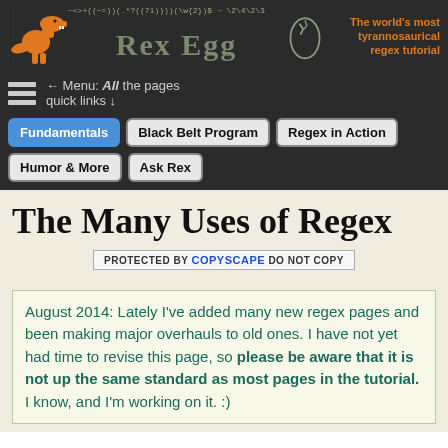[Figure (logo): RexEgg website header with orange T-Rex dinosaur logo, regex code pattern, site title 'REX EGG', egg icon, and orange tagline 'The world's most tyrannosaurical regex tutorial']
← Menu: All the pages quick links ↓
Fundamentals | Black Belt Program | Regex in Action | Humor & More | Ask Rex
The Many Uses of Regex
PROTECTED BY COPYSCAPE DO NOT COPY
August 2014: Lately I've added many new regex pages and been making major overhauls to old ones. I have not yet had time to revise this page, so please be aware that it is not up the same standard as most pages in the tutorial. I know, and I'm working on it. :)